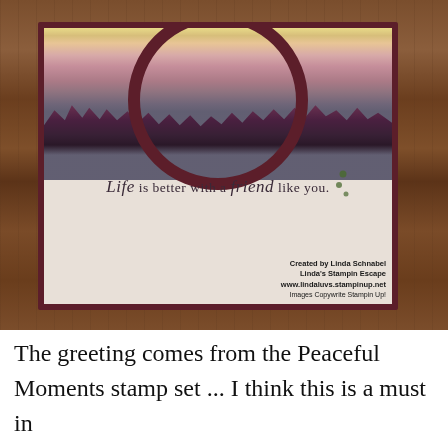[Figure (photo): A handmade watercolor greeting card displayed on a wooden background. The card features a watercolor landscape with a yellow/pink sky, dark purple tree silhouettes, a blue-grey water reflection, a large dark maroon circular ring embellishment, and the sentiment 'Life is better with a friend like you.' in cursive script. A watermark in the lower right reads: Created by Linda Schnabel, Linda's Stampin Escape, www.lindaluvs.stampinup.net, Images Copywrite Stampin Up!]
The greeting comes from the Peaceful Moments stamp set ... I think this is a must in